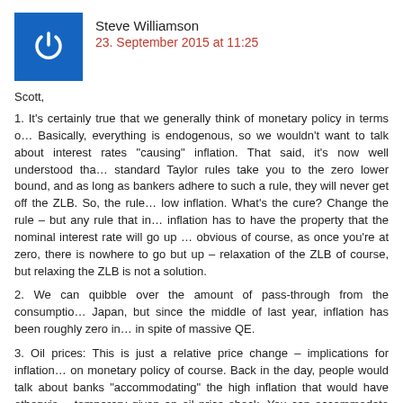Steve Williamson
23. September 2015 at 11:25
Scott,
1. It's certainly true that we generally think of monetary policy in terms o… Basically, everything is endogenous, so we wouldn't want to talk about interest rates "causing" inflation. That said, it's now well understood tha… standard Taylor rules take you to the zero lower bound, and as long as bankers adhere to such a rule, they will never get off the ZLB. So, the rule… low inflation. What's the cure? Change the rule – but any rule that in… inflation has to have the property that the nominal interest rate will go up … obvious of course, as once you're at zero, there is nowhere to go but up – relaxation of the ZLB of course, but relaxing the ZLB is not a solution.
2. We can quibble over the amount of pass-through from the consumptio… Japan, but since the middle of last year, inflation has been roughly zero in… in spite of massive QE.
3. Oil prices: This is just a relative price change – implications for inflation… on monetary policy of course. Back in the day, people would talk about banks "accommodating" the high inflation that would have otherwis… temporary given an oil price shock. You can accommodate on the downsi… think. You should note as well that oil prices (like everything else) are endo… on a world scale.
4. exchange rates: The exchange rate is endogenous too. The fact that th… Franc appreciated presumably had something to do with Swiss monetary p…